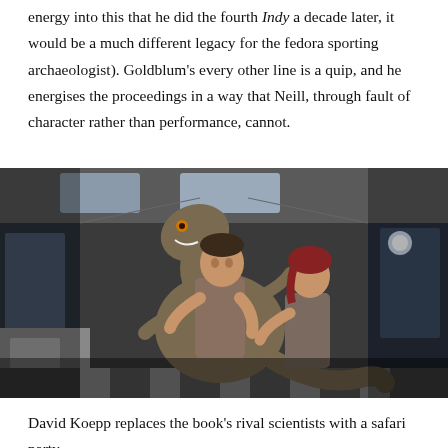energy into this that he did the fourth Indy a decade later, it would be a much different legacy for the fedora sporting archaeologist). Goldblum's every other line is a quip, and he energises the proceedings in a way that Neill, through fault of character rather than performance, cannot.
[Figure (photo): Two people inside a vehicle/transport holding a dinosaur creature. A man and a woman appear to be restraining or handling a large dinosaur (raptor-like) inside what appears to be a mobile laboratory or transport trailer with equipment visible in the background.]
David Koepp replaces the book's rival scientists with a safari party